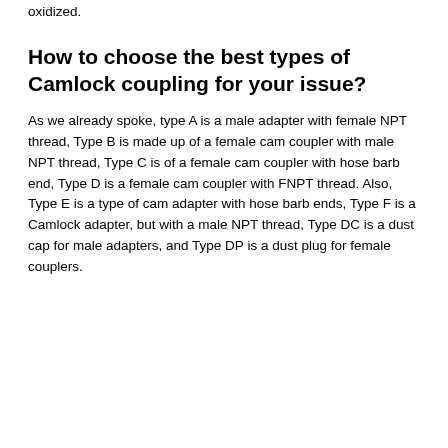oxidized.
How to choose the best types of Camlock coupling for your issue?
As we already spoke, type A is a male adapter with female NPT thread, Type B is made up of a female cam coupler with male NPT thread, Type C is of a female cam coupler with hose barb end, Type D is a female cam coupler with FNPT thread. Also, Type E is a type of cam adapter with hose barb ends, Type F is a Camlock adapter, but with a male NPT thread, Type DC is a dust cap for male adapters, and Type DP is a dust plug for female couplers.